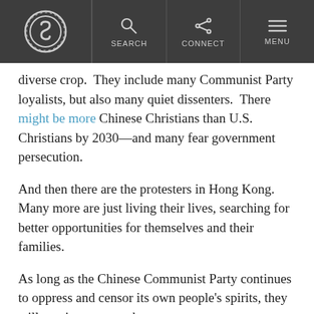Snopes navigation bar with logo, Search, Connect, Menu
diverse crop.  They include many Communist Party loyalists, but also many quiet dissenters.  There might be more Chinese Christians than U.S. Christians by 2030—and many fear government persecution.
And then there are the protesters in Hong Kong.  Many more are just living their lives, searching for better opportunities for themselves and their families.
As long as the Chinese Communist Party continues to oppress and censor its own people's spirits, they will continue to search.
Chinese people have lived on this Earth for thousands of years.  The Chinese Communist Party has only...